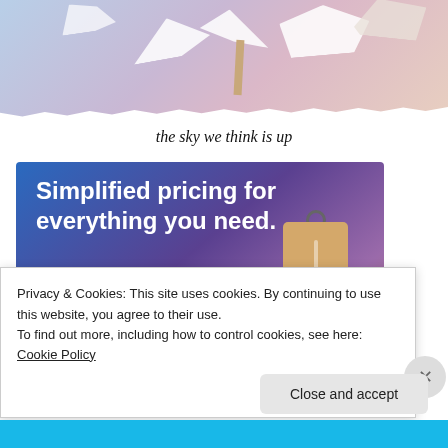[Figure (illustration): Watercolor-style artwork showing paper bird/angel wings against a blue-pink-mauve gradient background with a wooden stick]
the sky we think is up
[Figure (screenshot): Advertisement banner with purple-blue gradient background reading 'Simplified pricing for everything you need.' with a pink 'Build Your Website' button and a tan price tag illustration]
Privacy & Cookies: This site uses cookies. By continuing to use this website, you agree to their use.
To find out more, including how to control cookies, see here: Cookie Policy
Close and accept